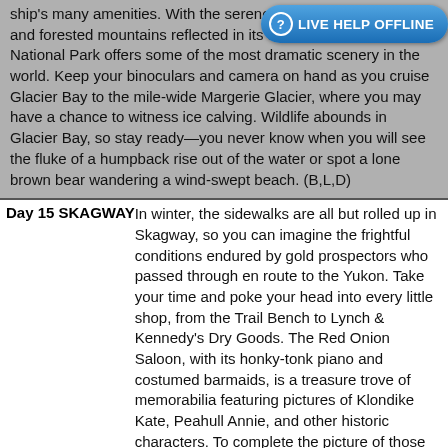ship's many amenities. With the serene majesty of snow-flecked and forested mountains reflected in its shores, Glacier Bay National Park offers some of the most dramatic scenery in the world. Keep your binoculars and camera on hand as you cruise Glacier Bay to the mile-wide Margerie Glacier, where you may have a chance to witness ice calving. Wildlife abounds in Glacier Bay, so stay ready—you never know when you will see the fluke of a humpback rise out of the water or spot a lone brown bear wandering a wind-swept beach. (B,L,D)
Day 15 SKAGWAY
In winter, the sidewalks are all but rolled up in Skagway, so you can imagine the frightful conditions endured by gold prospectors who passed through en route to the Yukon. Take your time and poke your head into every little shop, from the Trail Bench to Lynch & Kennedy's Dry Goods. The Red Onion Saloon, with its honky-tonk piano and costumed barmaids, is a treasure trove of memorabilia featuring pictures of Klondike Kate, Peahull Annie, and other historic characters. To complete the picture of those rip-roaring days, visit the nostalgic Trail of '98 Museum. (B,L,D)
Day 16 JUNEAU